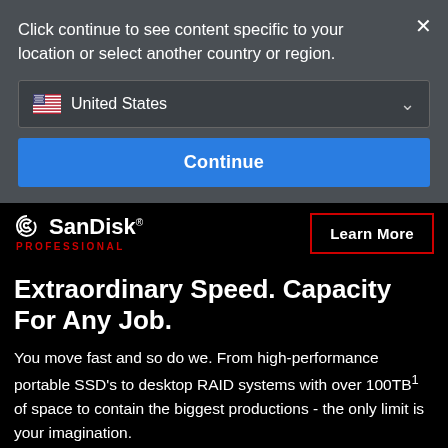Click continue to see content specific to your location or select another country or region.
United States
Continue
[Figure (logo): SanDisk Professional logo with swirl icon and red PROFESSIONAL text beneath]
Learn More
Extraordinary Speed. Capacity For Any Job.
You move fast and so do we. From high-performance portable SSD's to desktop RAID systems with over 100TB¹ of space to contain the biggest productions - the only limit is your imagination.